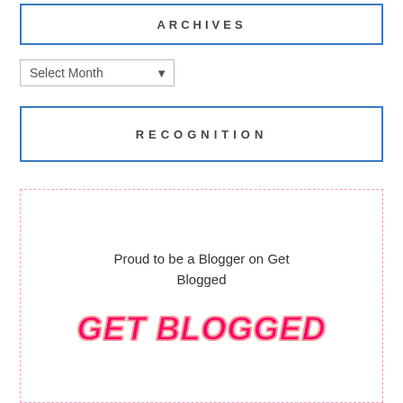ARCHIVES
Select Month
RECOGNITION
[Figure (other): Recognition badge box with dashed pink border containing text 'Proud to be a Blogger on Get Blogged' and stylized pink 'GET BLOGGED' logo text]
Proud to be a Blogger on Get Blogged
GET BLOGGED